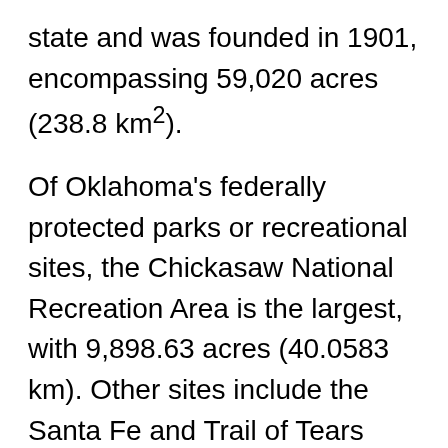state and was founded in 1901, encompassing 59,020 acres (238.8 km²).
Of Oklahoma's federally protected parks or recreational sites, the Chickasaw National Recreation Area is the largest, with 9,898.63 acres (40.0583 km). Other sites include the Santa Fe and Trail of Tears national historic trails, the Fort Smith and Washita Battlefield national historic sites, and the Oklahoma City National Memorial.
Oklahoma is in a humid subtropical region which lies in a transition zone between semi-